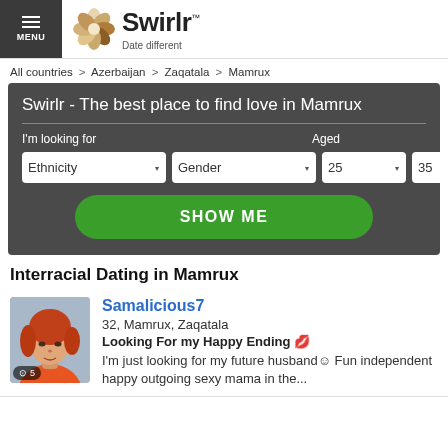MENU | Swirlr™ Date different
All countries > Azerbaijan > Zaqatala > Mamrux
Swirlr - The best place to find love in Mamrux
I'm looking for  Aged  Ethnicity  Gender  25  35  SHOW ME
Interracial Dating in Mamrux
[Figure (photo): Profile photo of Samalicious7, a woman with red-orange hair and an orange top, badge showing 5 photos]
Samalicious7
32, Mamrux, Zaqatala
Looking For my Happy Ending 💋
I'm just looking for my future husband☺ Fun independent happy outgoing sexy mama in the...